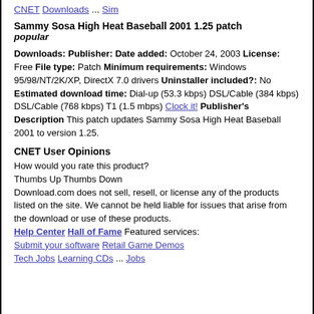CNET Downloads ... Sim
Sammy Sosa High Heat Baseball 2001 1.25 patch
popular
Downloads: Publisher: Date added: October 24, 2003 License: Free File type: Patch Minimum requirements: Windows 95/98/NT/2K/XP, DirectX 7.0 drivers Uninstaller included?: No Estimated download time: Dial-up (53.3 kbps) DSL/Cable (384 kbps) DSL/Cable (768 kbps) T1 (1.5 mbps) Clock it! Publisher's Description This patch updates Sammy Sosa High Heat Baseball 2001 to version 1.25.
CNET User Opinions
How would you rate this product?
Thumbs Up Thumbs Down
Download.com does not sell, resell, or license any of the products listed on the site. We cannot be held liable for issues that arise from the download or use of these products.
Help Center Hall of Fame Featured services: Submit your software Retail Game Demos Tech Jobs Learning CDs ... Jobs